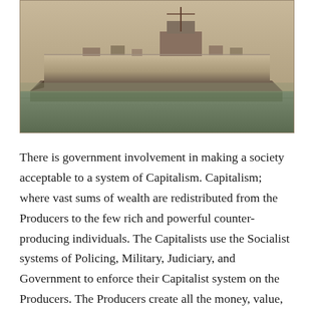[Figure (photo): Black and white / sepia photograph of a large naval aircraft carrier ship on water, viewed from the side, with military equipment visible on the deck.]
There is government involvement in making a society acceptable to a system of Capitalism. Capitalism; where vast sums of wealth are redistributed from the Producers to the few rich and powerful counter-producing individuals. The Capitalists use the Socialist systems of Policing, Military, Judiciary, and Government to enforce their Capitalist system on the Producers. The Producers create all the money, value, energy, wealth, capital and power that exists in a society and, or a nation. In Capitalism and in Socialism, we find Producers